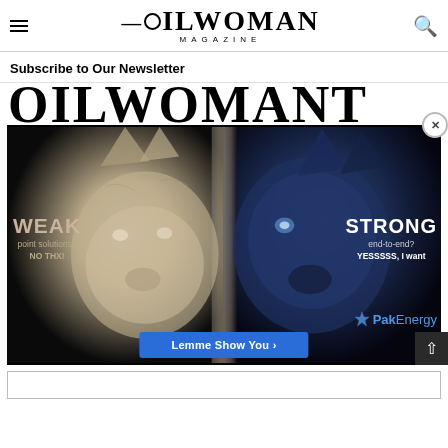OILWOMAN MAGAZINE
Subscribe to Our Newsletter
[Figure (advertisement): PakEnergy advertisement showing a split image of a white wolf (left) and a dark blue wolf (right). Left side reads 'WEAK point solutions? NO THX!' and right side reads 'STRONG end-to-end? YESSSSS, I want' with PakEnergy logo and a blue CTA button 'Lemme Show You ›']
[Figure (other): Partially visible bottom box/section at the bottom of the page]